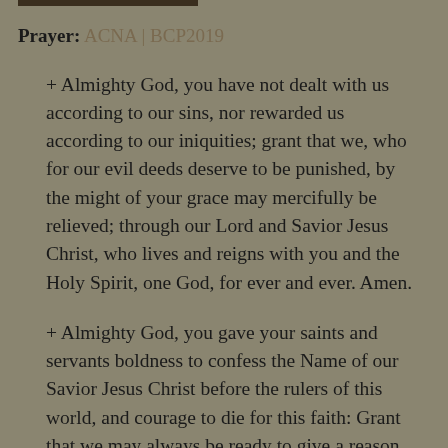Prayer: ACNA | BCP2019
+ Almighty God, you have not dealt with us according to our sins, nor rewarded us according to our iniquities; grant that we, who for our evil deeds deserve to be punished, by the might of your grace may mercifully be relieved; through our Lord and Savior Jesus Christ, who lives and reigns with you and the Holy Spirit, one God, for ever and ever. Amen.
+ Almighty God, you gave your saints and servants boldness to confess the Name of our Savior Jesus Christ before the rulers of this world, and courage to die for this faith: Grant that we may always be ready to give a reason for the hope that is in us, and to